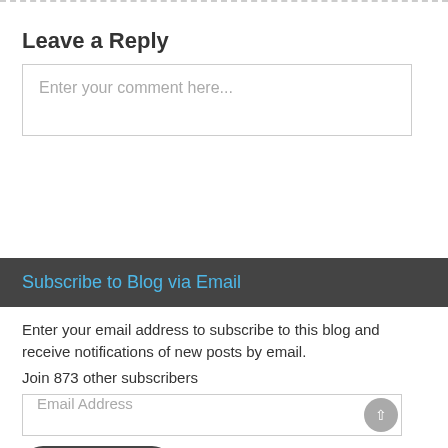Leave a Reply
Enter your comment here...
Subscribe to Blog via Email
Enter your email address to subscribe to this blog and receive notifications of new posts by email.
Join 873 other subscribers
Email Address
Subscribe